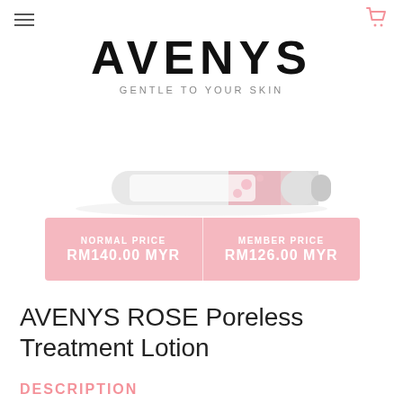AVENYS — navigation header with hamburger menu and cart icon
AVENYS
GENTLE TO YOUR SKIN
[Figure (photo): Partial view of a flat-lay product bottle/lotion container with pink floral design on a white background]
| NORMAL PRICE | MEMBER PRICE |
| --- | --- |
| RM140.00 MYR | RM126.00 MYR |
AVENYS ROSE Poreless Treatment Lotion
DESCRIPTION